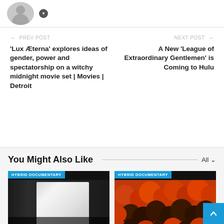[Figure (photo): User avatar placeholder (grey silhouette) with a small social icon]
← PREV POST
'Lux Æterna' explores ideas of gender, power and spectatorship on a witchy midnight movie set | Movies | Detroit
NEXT POST →
A New 'League of Extraordinary Gentlemen' is Coming to Hulu
You Might Also Like
[Figure (photo): Card with HYBRID DOCUMENTARY tag and a performer on stage in white shirt]
[Figure (photo): Card with HYBRID DOCUMENTARY tag and orange and dark balloons]